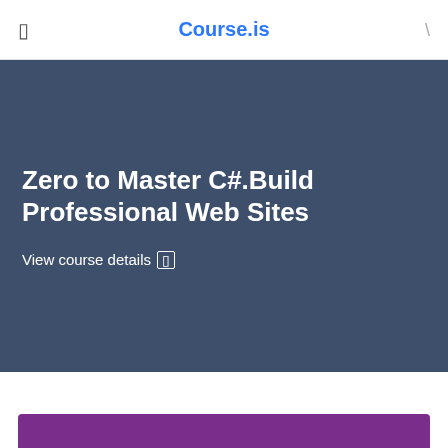Course.is
Zero to Master C#.Build Professional Web Sites
View course details
[Figure (other): Purple banner bar at the bottom of the page]